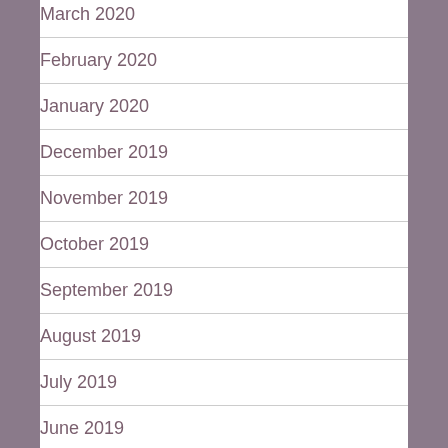March 2020
February 2020
January 2020
December 2019
November 2019
October 2019
September 2019
August 2019
July 2019
June 2019
May 2019
April 2019
March 2019
February 2019